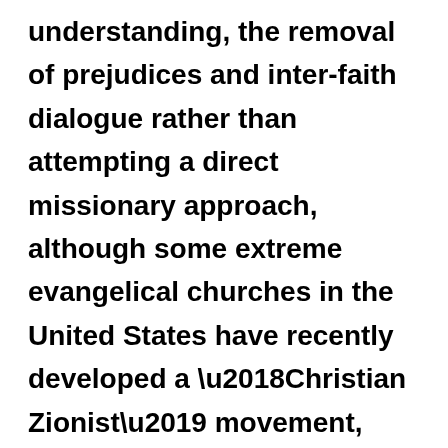understanding, the removal of prejudices and inter-faith dialogue rather than attempting a direct missionary approach, although some extreme evangelical churches in the United States have recently developed a ‘Christian Zionist’ movement, based on literal interpretations of the apocalyptic literature of the Bible and those ‘prophecies’ which point to the mass